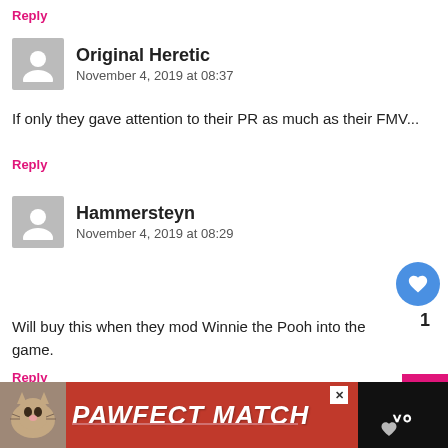Reply
Original Heretic
November 4, 2019 at 08:37
If only they gave attention to their PR as much as their FMV...
Reply
Hammersteyn
November 4, 2019 at 08:29
Will buy this when they mod Winnie the Pooh into the game.
Reply
Original Heretic
November 4, 2019 at 08:37
If onl
[Figure (other): PAWFECT MATCH advertisement banner with cat image at bottom of screen]